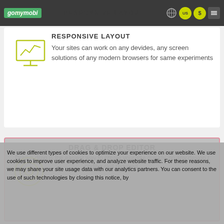gomymobi — RESPONSIVE LAYOUT
[Figure (illustration): Monitor/screen icon with a chart symbol, outlined in olive/yellow-green color]
RESPONSIVE LAYOUT
Your sites can work on any devides, any screen solutions of any modern browsers for same experiments
DRAG & DROP EDITOR
[Figure (illustration): Circular target/bullseye icon outlined in olive/yellow-green color]
Drag-n-drop is the easiest way to create your site quickly, no any design / coding skill required.
We use different types of cookies to optimize your experience on our website. We use cookies to improve user experience, and analyze website traffic. For these reasons, we may share your site usage data with our analytics partners. You can consent to the use of such technologies by closing this notice, by